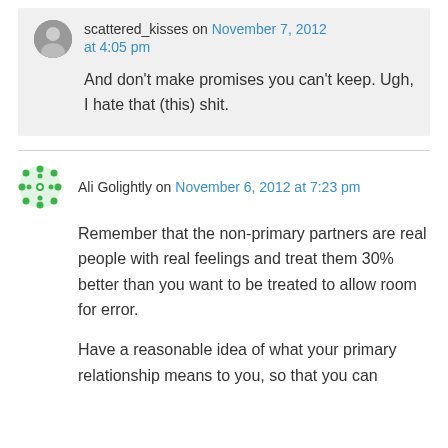scattered_kisses on November 7, 2012 at 4:05 pm
And don't make promises you can't keep. Ugh, I hate that (this) shit.
Ali Golightly on November 6, 2012 at 7:23 pm
Remember that the non-primary partners are real people with real feelings and treat them 30% better than you want to be treated to allow room for error.
Have a reasonable idea of what your primary relationship means to you, so that you can